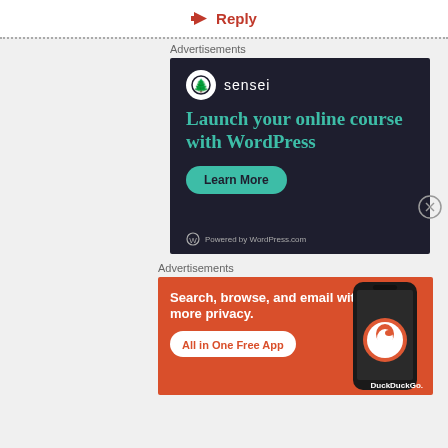➜ Reply
Advertisements
[Figure (illustration): Sensei advertisement: dark navy background, Sensei logo (tree in circle), headline 'Launch your online course with WordPress', Learn More button, Powered by WordPress.com footer]
Advertisements
[Figure (illustration): DuckDuckGo advertisement: orange background, text 'Search, browse, and email with more privacy. All in One Free App', DuckDuckGo logo with phone image]